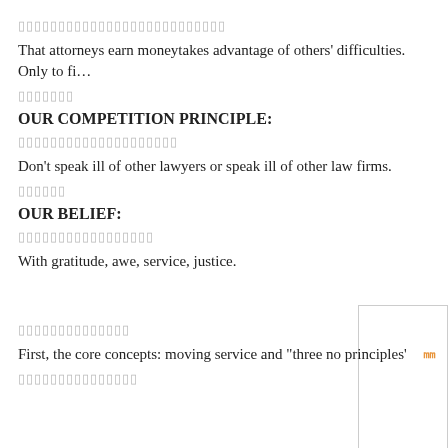[redacted Chinese text]
That attorneys earn moneytakes advantage of others' difficulties. Only to fi…
[redacted Chinese text]
OUR COMPETITION PRINCIPLE:
[redacted Chinese text]
Don't speak ill of other lawyers or speak ill of other law firms.
[redacted Chinese text]
OUR BELIEF:
[redacted Chinese text]
With gratitude, awe, service, justice.
[redacted Chinese text]
First, the core concepts: moving service and "three no principles'
[redacted Chinese text]